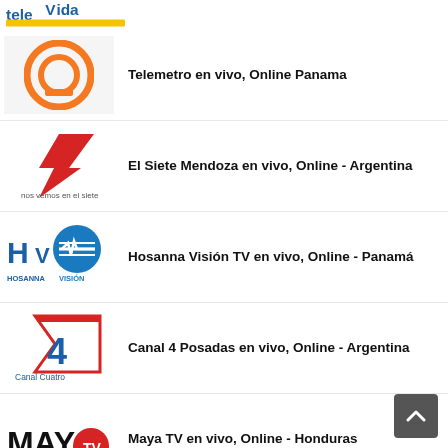[Figure (logo): Tele Vida logo, partial at top]
Telemetro en vivo, Online Panama
El Siete Mendoza en vivo, Online - Argentina
Hosanna Visión TV en vivo, Online - Panamá
Canal 4 Posadas en vivo, Online - Argentina
Maya TV en vivo, Online - Honduras